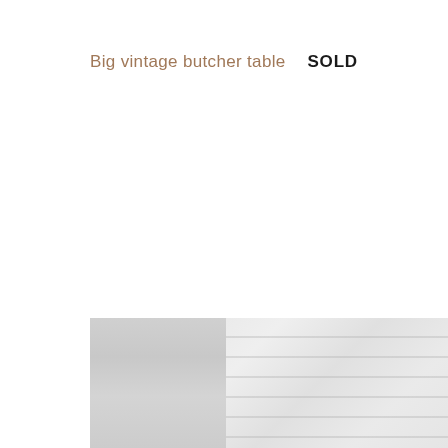Big vintage butcher table
SOLD
[Figure (photo): Partial view of a whitewashed brick and wood plank wall, light tones, minimal decor setting.]